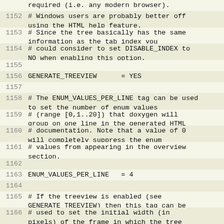Code/configuration file snippet showing doxygen configuration options, lines 1152-1166, including GENERATE_TREEVIEW = YES and ENUM_VALUES_PER_LINE = 4 settings with comments.